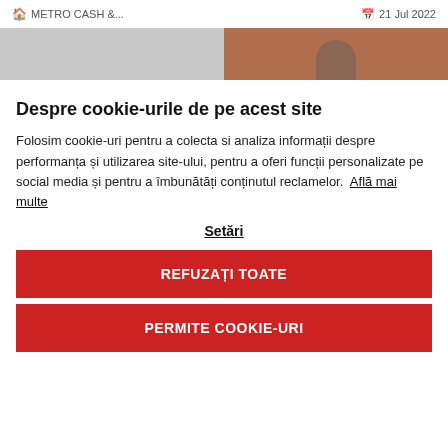METRO CASH &...   21 Jul 2022
[Figure (photo): Partial image showing a gray area on the left and a brown/skin-tone area on the right, possibly a person's head at the bottom right]
Despre cookie-urile de pe acest site
Folosim cookie-uri pentru a colecta si analiza informații despre performanța și utilizarea site-ului, pentru a oferi funcții personalizate pe social media și pentru a îmbunătăți conținutul reclamelor.  Află mai multe
Setări
REFUZAȚI TOATE
PERMITE COOKIE-URI